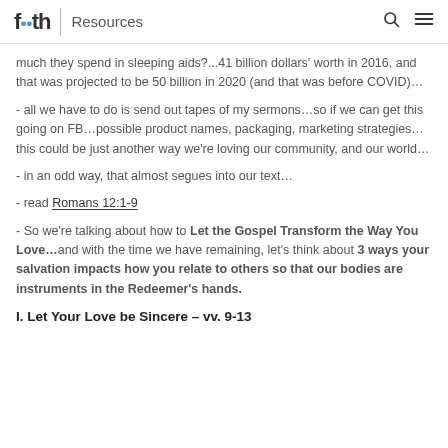faith | Resources
much they spend in sleeping aids?...41 billion dollars' worth in 2016, and that was projected to be 50 billion in 2020 (and that was before COVID)…
- all we have to do is send out tapes of my sermons…so if we can get this going on FB…possible product names, packaging, marketing strategies…this could be just another way we're loving our community, and our world…
- in an odd way, that almost segues into our text…
- read Romans 12:1-9
- So we're talking about how to Let the Gospel Transform the Way You Love…and with the time we have remaining, let's think about 3 ways your salvation impacts how you relate to others so that our bodies are instruments in the Redeemer's hands.
I. Let Your Love be Sincere – vv. 9-13